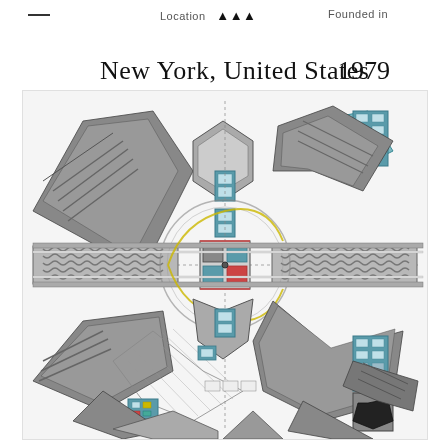Location   Founded in
New York, United States   1979
[Figure (illustration): Complex architectural or engineering conceptual drawing rendered in pen/ink with color accents. Features an intricate, radially symmetrical composition with geometric forms — triangles, rectangles, diagonal lines, and mechanical-looking structural elements. Colors include gray, black, white, teal/cyan, yellow, and red. The composition has a central circular/cross motif with diagonal winged forms extending to the corners.]